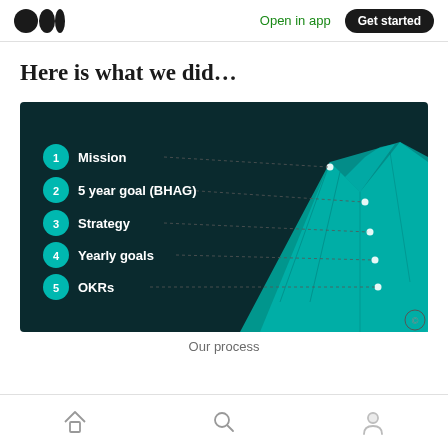Open in app | Get started
Here is what we did…
[Figure (infographic): Dark teal background infographic showing a mountain/iceberg image on the right side. On the left, a numbered list with teal circle badges: 1 Mission, 2 5 year goal (BHAG), 3 Strategy, 4 Yearly goals, 5 OKRs. Dotted lines connect each item to points on the mountain image.]
Our process
Home | Search | Profile